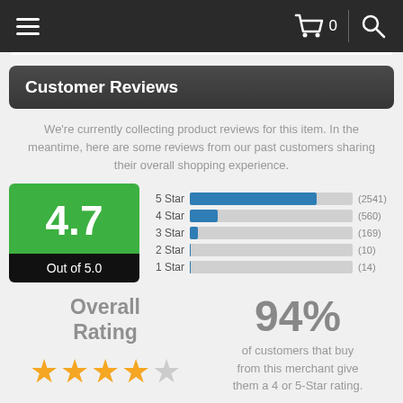[Figure (screenshot): Mobile navigation bar with hamburger menu, shopping cart icon with 0 count, and search icon on dark background]
Customer Reviews
We're currently collecting product reviews for this item. In the meantime, here are some reviews from our past customers sharing their overall shopping experience.
[Figure (bar-chart): Star rating distribution]
Overall Rating
94% of customers that buy from this merchant give them a 4 or 5-Star rating.